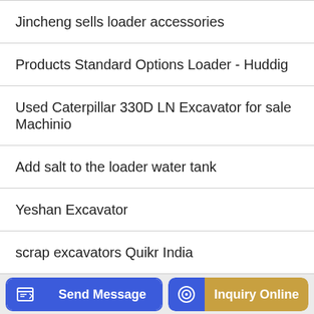Jincheng sells loader accessories
Products Standard Options Loader - Huddig
Used Caterpillar 330D LN Excavator for sale Machinio
Add salt to the loader water tank
Yeshan Excavator
scrap excavators Quikr India
About us
Talenet Group is a comprehensive high-tech enterprise integrating